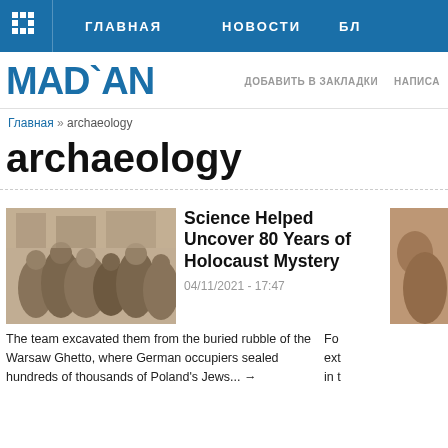M  ГЛАВНАЯ  НОВОСТИ  БЛ
MADAN
ДОБАВИТЬ В ЗАКЛАДКИ  НАПИСА
Главная » archaeology
archaeology
[Figure (photo): Black and white historical photo of people in the Warsaw Ghetto]
Science Helped Uncover 80 Years of Holocaust Mystery
04/11/2021 - 17:47
[Figure (photo): Partial view of another article image on the right]
The team excavated them from the buried rubble of the Warsaw Ghetto, where German occupiers sealed hundreds of thousands of Poland's Jews... →
For ext in t